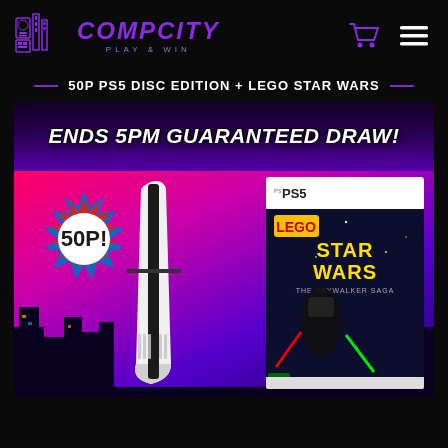[Figure (logo): CompCity Play & Win logo with pixel-art gaming icons and purple styled text]
50P PS5 DISC EDITION + LEGO STAR WARS
[Figure (illustration): Promotional banner showing PS5 Disc Edition console and LEGO Star Wars The Skywalker Saga game case, with '50P!' starburst badge and 'ENDS 5PM GUARANTEED DRAW!' text on purple/pink city background]